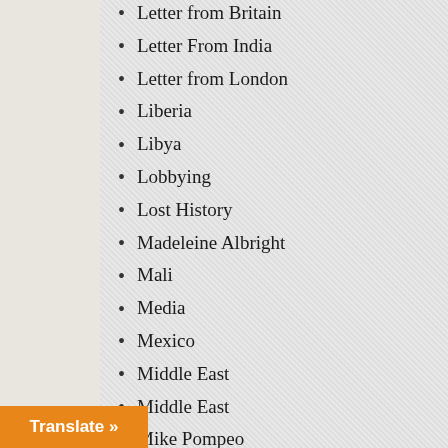Letter from Britain
Letter From India
Letter from London
Liberia
Libya
Lobbying
Lost History
Madeleine Albright
Mali
Media
Mexico
Middle East
Middle East
Mike Pompeo
Militarism
Military
Military Industry
Moldova
Montenegro
Music